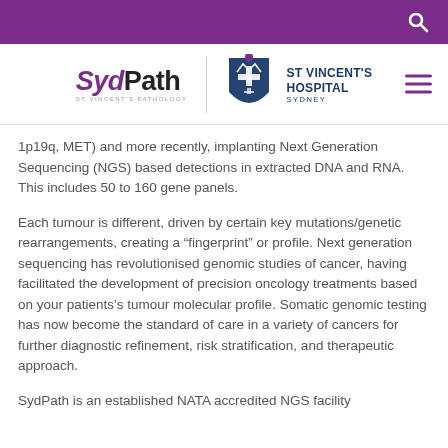SydPath / St Vincent's Hospital Sydney — navigation header with search icon
[Figure (logo): SydPath (St Vincent's Pathology) logo on the left, St Vincent's Hospital Sydney shield logo in the center, hamburger menu icon on the right]
1p19q, MET) and more recently, implanting Next Generation Sequencing (NGS) based detections in extracted DNA and RNA. This includes 50 to 160 gene panels.
Each tumour is different, driven by certain key mutations/genetic rearrangements, creating a “fingerprint” or profile. Next generation sequencing has revolutionised genomic studies of cancer, having facilitated the development of precision oncology treatments based on your patients’s tumour molecular profile. Somatic genomic testing has now become the standard of care in a variety of cancers for further diagnostic refinement, risk stratification, and therapeutic approach.
SydPath is an established NATA accredited NGS facility